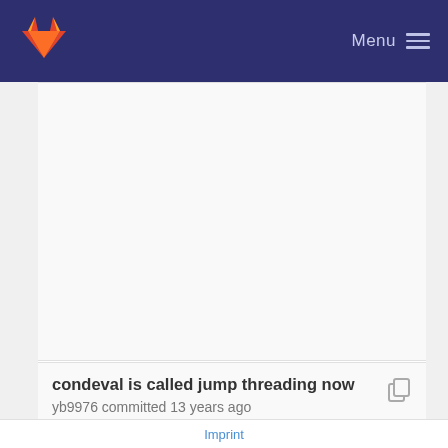GitLab Menu
condeval is called jump threading now
yb9976 committed 13 years ago
condeval can evaluate phis on phis on constants ...
Imprint